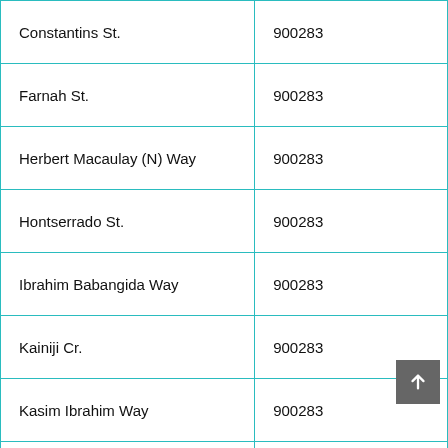| Street Name | Postal Code |
| --- | --- |
| Constantins St. | 900283 |
| Farnah St. | 900283 |
| Herbert Macaulay (N) Way | 900283 |
| Hontserrado St. | 900283 |
| Ibrahim Babangida Way | 900283 |
| Kainiji Cr. | 900283 |
| Kasim Ibrahim Way | 900283 |
| Ladi Kwali St. | 900283 |
| Manzani St. | 900283 |
| Mexnes St. | 900283 |
| Mogadahu St. | 900283 |